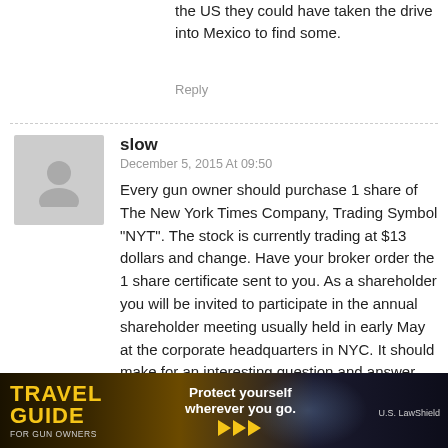the US they could have taken the drive into Mexico to find some.
Reply
slow
December 5, 2015 At 09:50
Every gun owner should purchase 1 share of The New York Times Company, Trading Symbol “NYT”. The stock is currently trading at $13 dollars and change. Have your broker order the 1 share certificate sent to you. As a shareholder you will be invited to participate in the annual shareholder meeting usually held in early May at the corporate headquarters in NYC. It should make for an interesting question and answer session.
Reply
[Figure (infographic): Travel Guide For Gun Owners advertisement banner with text: Protect yourself wherever you go.]